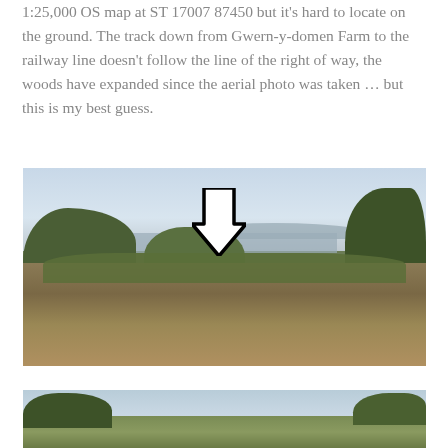1:25,000 OS map at ST 17007 87450 but it's hard to locate on the ground. The track down from Gwern-y-domen Farm to the railway line doesn't follow the line of the right of way, the woods have expanded since the aerial photo was taken ... but this is my best guess.
[Figure (photo): Outdoor landscape photograph showing a scrubby field with trees in the middle distance and a valley town visible beyond. A large downward-pointing arrow is superimposed on the image indicating a location.]
[Figure (photo): Partial outdoor landscape photograph at the bottom of the page, showing trees and scrubby vegetation under a partly cloudy sky.]